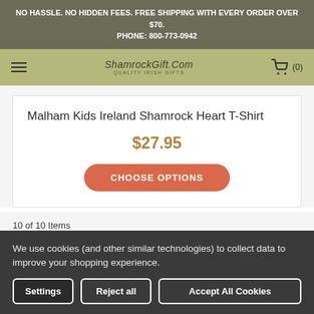NO HASSLE. NO HIDDEN FEES. FREE SHIPPING WITH EVERY ORDER OVER $70.
PHONE: 800-773-0942
ShamrockGift.Com
QUALITY IRISH GIFTS
Malham Kids Ireland Shamrock Heart T-Shirt
$27.95
CHOOSE OPTIONS
10 of 10 Items
We use cookies (and other similar technologies) to collect data to improve your shopping experience.
Settings
Reject all
Accept All Cookies